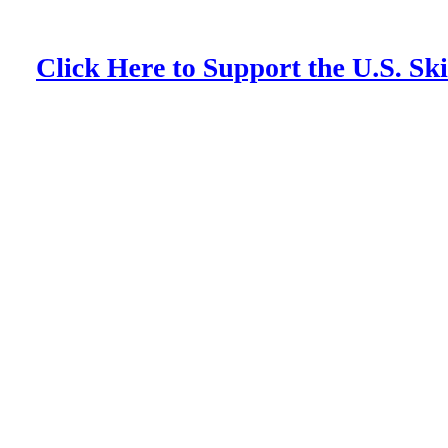Click Here to Support the U.S. Ski and Snow